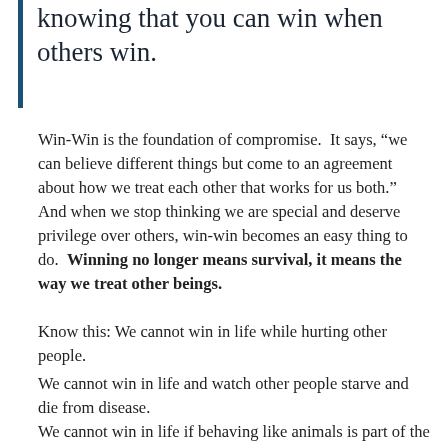knowing that you can win when others win.
Win-Win is the foundation of compromise.  It says, “we can believe different things but come to an agreement about how we treat each other that works for us both.”  And when we stop thinking we are special and deserve privilege over others, win-win becomes an easy thing to do.  Winning no longer means survival, it means the way we treat other beings.
Know this: We cannot win in life while hurting other people.
We cannot win in life and watch other people starve and die from disease.
We cannot win in life if behaving like animals is part of the